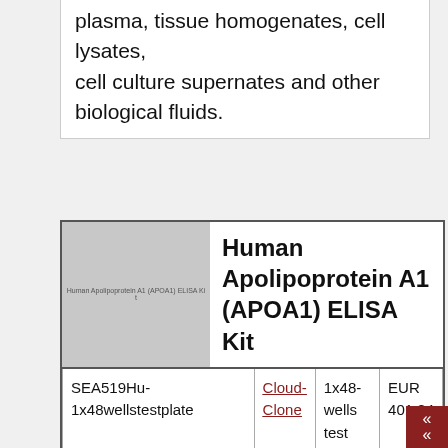plasma, tissue homogenates, cell lysates, cell culture supernates and other biological fluids.
[Figure (photo): Product image thumbnail for Human Apolipoprotein A1 (APOA1) ELISA Kit, shown as a gray placeholder with small label text]
Human Apolipoprotein A1 (APOA1) ELISA Kit
|  |  | 1x48-wells test plate |  |
| --- | --- | --- | --- |
| SEA519Hu-1x48wellstestplate | Cloud-Clone | 1x48-wells test plate | EUR 401.84 |